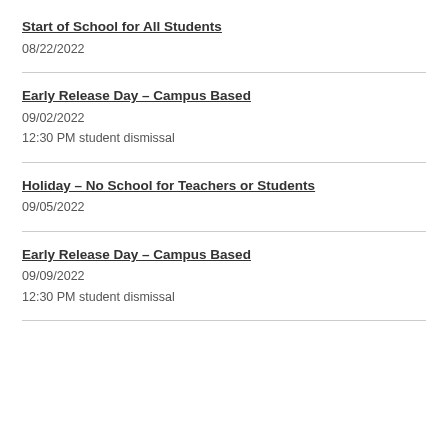Start of School for All Students
08/22/2022
Early Release Day – Campus Based
09/02/2022
12:30 PM student dismissal
Holiday – No School for Teachers or Students
09/05/2022
Early Release Day – Campus Based
09/09/2022
12:30 PM student dismissal